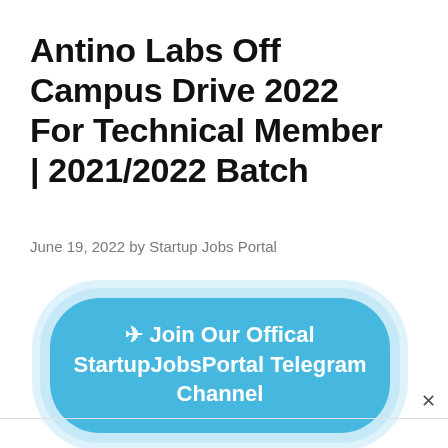Antino Labs Off Campus Drive 2022 For Technical Member | 2021/2022 Batch
June 19, 2022 by Startup Jobs Portal
[Figure (other): A blue rounded button with white bold text reading '✈ Join Our Offical StartupJobsPortal Telegram Channel', surrounded by a light blue glow/shadow effect, with an X close button at the bottom right]